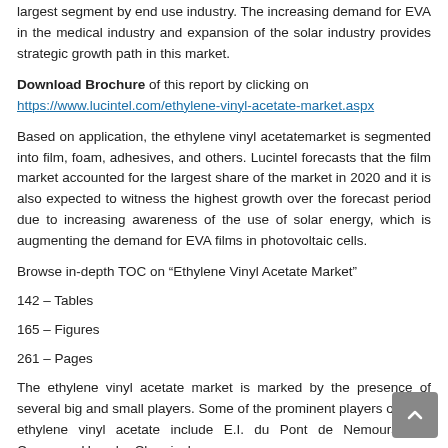largest segment by end use industry. The increasing demand for EVA in the medical industry and expansion of the solar industry provides strategic growth path in this market.
Download Brochure of this report by clicking on https://www.lucintel.com/ethylene-vinyl-acetate-market.aspx
Based on application, the ethylene vinyl acetatemarket is segmented into film, foam, adhesives, and others. Lucintel forecasts that the film market accounted for the largest share of the market in 2020 and it is also expected to witness the highest growth over the forecast period due to increasing awareness of the use of solar energy, which is augmenting the demand for EVA films in photovoltaic cells.
Browse in-depth TOC on “Ethylene Vinyl Acetate Market”
142 – Tables
165 – Figures
261 – Pages
The ethylene vinyl acetate market is marked by the presence of several big and small players. Some of the prominent players offering ethylene vinyl acetate include E.I. du Pont de Nemours and Company, Hanwha Chemical,